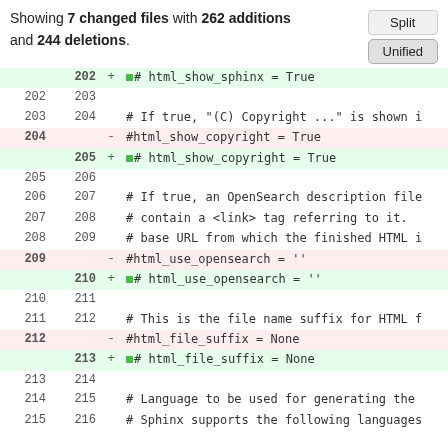Showing 7 changed files with 262 additions and 244 deletions.
[Figure (screenshot): Split/Unified view toggle buttons]
| old | new | op | code |
| --- | --- | --- | --- |
|  | 202 | + | # html_show_sphinx = True |
| 202 | 203 |  |  |
| 203 | 204 |  | # If true, "(C) Copyright ..." is shown i |
| 204 |  | - | #html_show_copyright = True |
|  | 205 | + | # html_show_copyright = True |
| 205 | 206 |  |  |
| 206 | 207 |  | # If true, an OpenSearch description file |
| 207 | 208 |  | # contain a <link> tag referring to it. |
| 208 | 209 |  | # base URL from which the finished HTML i |
| 209 |  | - | #html_use_opensearch = '' |
|  | 210 | + | # html_use_opensearch = '' |
| 210 | 211 |  |  |
| 211 | 212 |  | # This is the file name suffix for HTML f |
| 212 |  | - | #html_file_suffix = None |
|  | 213 | + | # html_file_suffix = None |
| 213 | 214 |  |  |
| 214 | 215 |  | # Language to be used for generating the |
| 215 | 216 |  | # Sphinx supports the following languages |